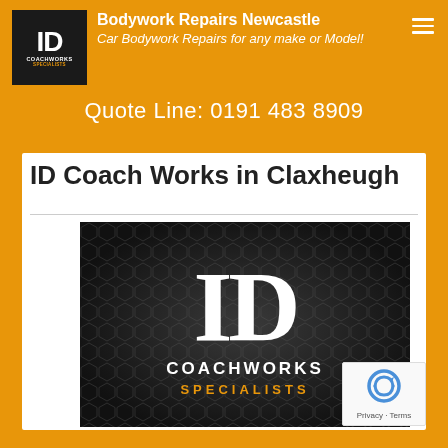Bodywork Repairs Newcastle — Car Bodywork Repairs for any make or Model!
Quote Line: 0191 483 8909
ID Coach Works in Claxheugh
[Figure (logo): ID Coachworks Specialists logo — large white ID letters on dark hexagonal mesh background, with COACHWORKS SPECIALISTS text below in white and orange]